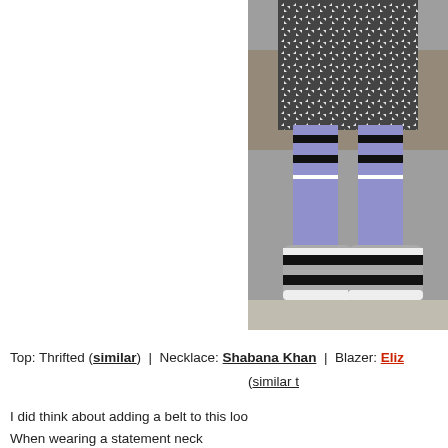[Figure (photo): Close-up photograph of a person's lower legs and feet wearing blue/purple striped socks with black and white stripes, black and white retro sneakers/shoes, and houndstooth patterned wide-leg pants or skirt. The background shows autumn leaves and a concrete surface.]
Top: Thrifted (similar) | Necklace: Shabana Khan | Blazer: Eliz (similar t
I did think about adding a belt to this loo When wearing a statement neck